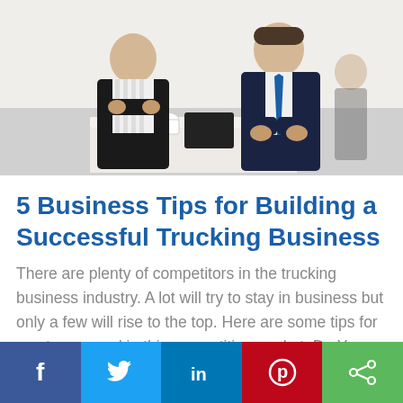[Figure (photo): Two business people sitting at a table, one with arms crossed wearing a striped shirt, the other in a dark suit and tie, with a coffee cup and tablet on the table.]
5 Business Tips for Building a Successful Trucking Business
There are plenty of competitors in the trucking business industry. A lot will try to stay in business but only a few will rise to the top. Here are some tips for you to succeed in this competitive market: Do Your Research. As in any business,...